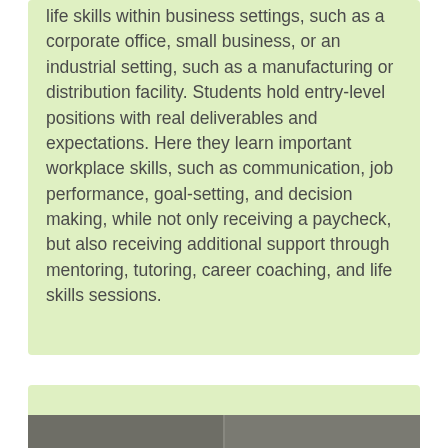life skills within business settings, such as a corporate office, small business, or an industrial setting, such as a manufacturing or distribution facility. Students hold entry-level positions with real deliverables and expectations. Here they learn important workplace skills, such as communication, job performance, goal-setting, and decision making, while not only receiving a paycheck, but also receiving additional support through mentoring, tutoring, career coaching, and life skills sessions.
[Figure (photo): Bottom portion of a light green panel with two side-by-side photos visible at the very bottom of the page showing what appears to be a classroom or workplace setting.]